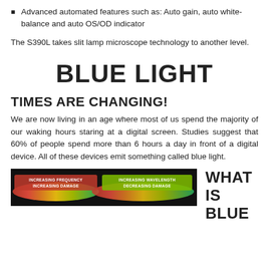Advanced automated features such as: Auto gain, auto white-balance and auto OS/OD indicator
The S390L takes slit lamp microscope technology to another level.
BLUE LIGHT
TIMES ARE CHANGING!
We are now living in an age where most of us spend the majority of our waking hours staring at a digital screen. Studies suggest that 60% of people spend more than 6 hours a day in front of a digital device. All of these devices emit something called blue light.
[Figure (illustration): Spectrum diagram showing increasing frequency/increasing damage on the left (red/orange) and increasing wavelength/decreasing damage on the right (yellow/green), on a black background.]
WHAT IS BLUE